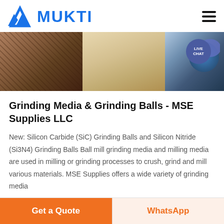[Figure (logo): Mukti logo with blue triangular mountain-like icon and blue bold MUKTI text]
[Figure (photo): Banner with three industrial images: metal works/factory interior, sandy/powder material, and mining/processing equipment with blue machinery. Live Chat badge overlay top right.]
Grinding Media & Grinding Balls - MSE Supplies LLC
New: Silicon Carbide (SiC) Grinding Balls and Silicon Nitride (Si3N4) Grinding Balls Ball mill grinding media and milling media are used in milling or grinding processes to crush, grind and mill various materials. MSE Supplies offers a wide variety of grinding media
Get a Quote | WhatsApp